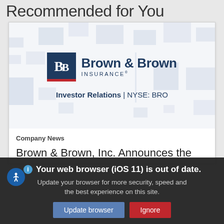Recommended for You
[Figure (logo): Brown & Brown Insurance logo with 'BB' monogram in dark navy box with red bottom bar, company name in navy serif font, and 'INSURANCE' in small caps]
Investor Relations | NYSE: BRO
Company News
Brown & Brown, Inc. Announces the
Your web browser (iOS 11) is out of date. Update your browser for more security, speed and the best experience on this site.